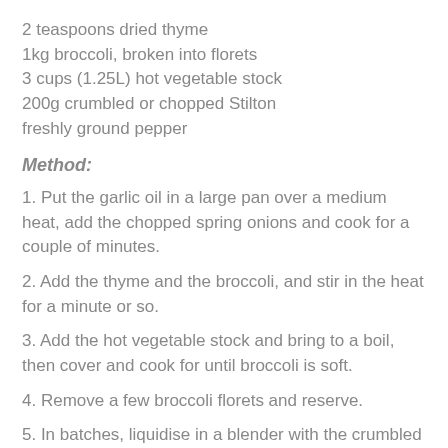2 teaspoons dried thyme
1kg broccoli, broken into florets
3 cups (1.25L) hot vegetable stock
200g crumbled or chopped Stilton
freshly ground pepper
Method:
1. Put the garlic oil in a large pan over a medium heat, add the chopped spring onions and cook for a couple of minutes.
2. Add the thyme and the broccoli, and stir in the heat for a minute or so.
3. Add the hot vegetable stock and bring to a boil, then cover and cook for until broccoli is soft.
4. Remove a few broccoli florets and reserve.
5. In batches, liquidise in a blender with the crumbled Stilton
6. Pour back in the pan, add florets and pepper then reheat.